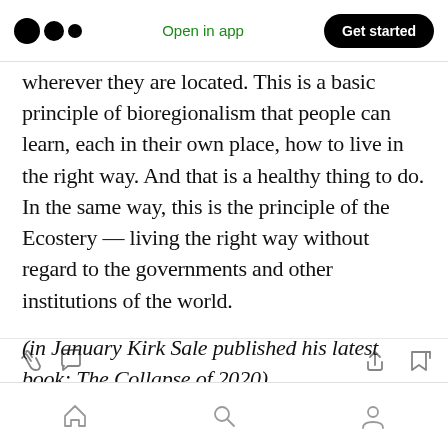Medium app header — Open in app | Get started
wherever they are located. This is a basic principle of bioregionalism that people can learn, each in their own place, how to live in the right way. And that is a healthy thing to do. In the same way, this is the principle of the Ecostery — living the right way without regard to the governments and other institutions of the world.
(in January Kirk Sale published his latest book: The Collapse of 2020)
Mobile app bottom navigation bar